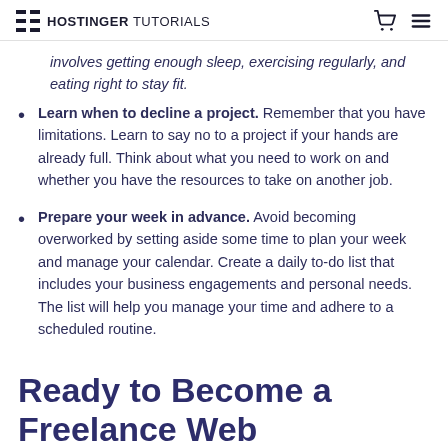HOSTINGER TUTORIALS
involves getting enough sleep, exercising regularly, and eating right to stay fit.
Learn when to decline a project. Remember that you have limitations. Learn to say no to a project if your hands are already full. Think about what you need to work on and whether you have the resources to take on another job.
Prepare your week in advance. Avoid becoming overworked by setting aside some time to plan your week and manage your calendar. Create a daily to-do list that includes your business engagements and personal needs. The list will help you manage your time and adhere to a scheduled routine.
Ready to Become a Freelance Web Developer?